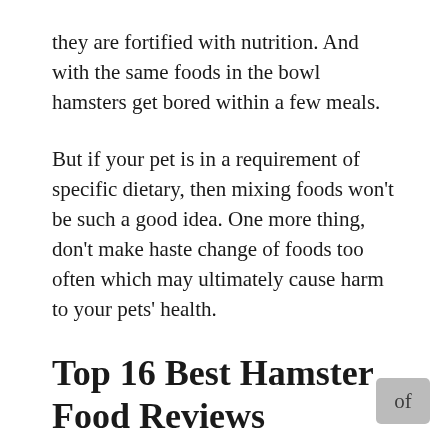they are fortified with nutrition. And with the same foods in the bowl hamsters get bored within a few meals.
But if your pet is in a requirement of specific dietary, then mixing foods won't be such a good idea. One more thing, don't make haste change of foods too often which may ultimately cause harm to your pets' health.
Top 16 Best Hamster Food Reviews
We did the brainstorm by going through lots of reviews, asked authentic buyers and pet owners